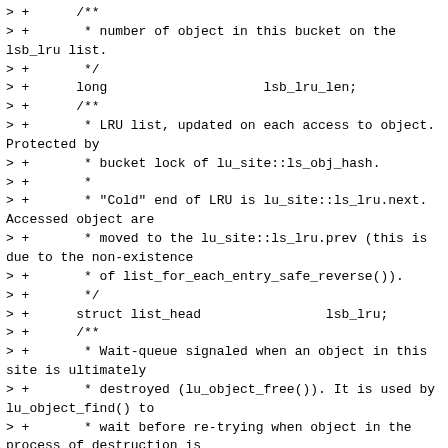> +      /**
> +       * number of object in this bucket on the lsb_lru list.
> +       */
> +      long                    lsb_lru_len;
> +      /**
> +       * LRU list, updated on each access to object. Protected by
> +       * bucket lock of lu_site::ls_obj_hash.
> +       *
> +       * "Cold" end of LRU is lu_site::ls_lru.next. Accessed object are
> +       * moved to the lu_site::ls_lru.prev (this is due to the non-existence
> +       * of list_for_each_entry_safe_reverse()).
> +       */
> +      struct list_head                lsb_lru;
> +      /**
> +       * Wait-queue signaled when an object in this site is ultimately
> +       * destroyed (lu_object_free()). It is used by lu_object_find() to
> +       * wait before re-trying when object in the process of destruction is
> +       * found in the hash table.
> +       *
> +       * \see htable_lookup().
> +       */
> +      wait_queue_head_t
lsb_marche_funebre;